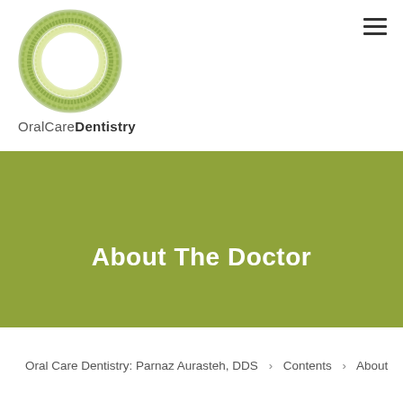[Figure (logo): OralCareDentistry logo: a circular olive-green ring drawn in a sketchy style with a white center, above the text OralCareDentistry]
About The Doctor
Oral Care Dentistry: Parnaz Aurasteh, DDS › Contents › About